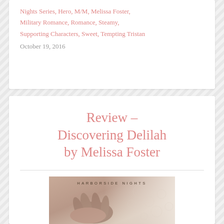Nights Series, Hero, M/M, Melissa Foster, Military Romance, Romance, Steamy, Supporting Characters, Sweet, Tempting Tristan
October 19, 2016
Review – Discovering Delilah by Melissa Foster
[Figure (photo): Book cover for Discovering Delilah, part of the Harborside Nights series by Melissa Foster, showing hands intertwined with a lace background]